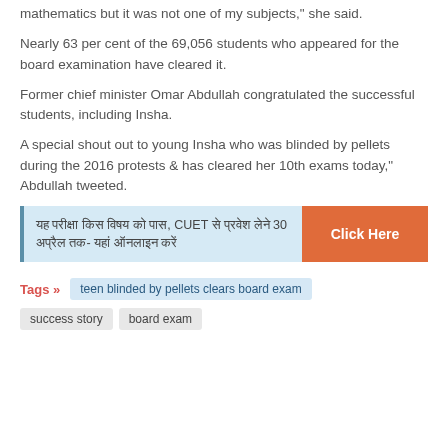mathematics but it was not one of my subjects," she said.
Nearly 63 per cent of the 69,056 students who appeared for the board examination have cleared it.
Former chief minister Omar Abdullah congratulated the successful students, including Insha.
A special shout out to young Insha who was blinded by pellets during the 2016 protests & has cleared her 10th exams today," Abdullah tweeted.
[Figure (other): Advertisement banner with Hindi text about CUET exam with a 'Click Here' orange button]
Tags » teen blinded by pellets clears board exam
success story   board exam